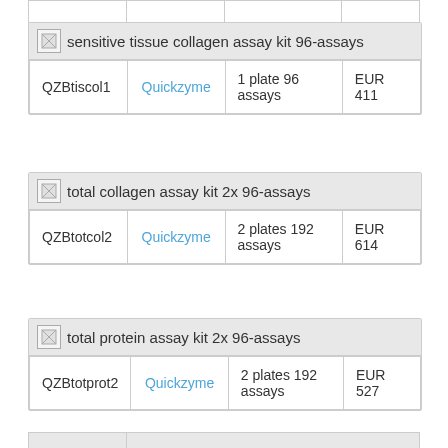|  |  |  |  |
| sensitive tissue collagen assay kit 96-assays |
| --- |
| QZBtiscol1 | Quickzyme | 1 plate 96 assays | EUR 411 |
| total collagen assay kit 2x 96-assays |
| --- |
| QZBtotcol2 | Quickzyme | 2 plates 192 assays | EUR 614 |
| total protein assay kit 2x 96-assays |
| --- |
| QZBtotprot2 | Quickzyme | 2 plates 192 assays | EUR 527 |
|  |  |  |  |